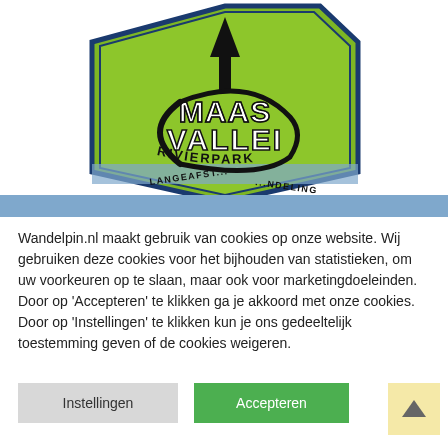[Figure (logo): Maas Vallei Rivierpark logo — a green octagon/house-shaped badge with a black upward arrow, the text MAAS VALLEI in bold white/black letters, RIVIERPARK in a curved arc below, and LANGEAFST... NDELING around the bottom edge. The badge has a blue border/rim.]
Wandelpin.nl maakt gebruik van cookies op onze website. Wij gebruiken deze cookies voor het bijhouden van statistieken, om uw voorkeuren op te slaan, maar ook voor marketingdoeleinden. Door op 'Accepteren' te klikken ga je akkoord met onze cookies. Door op 'Instellingen' te klikken kun je ons gedeeltelijk toestemming geven of de cookies weigeren.
Instellingen
Accepteren